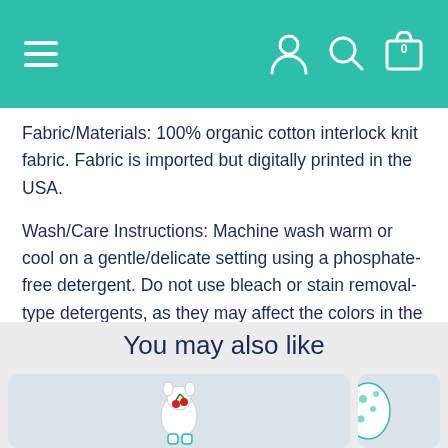Navigation bar with hamburger menu, user icon, search icon, and cart icon (0 items)
Fabric/Materials: 100% organic cotton interlock knit fabric. Fabric is imported but digitally printed in the USA.
Wash/Care Instructions: Machine wash warm or cool on a gentle/delicate setting using a phosphate-free detergent. Do not use bleach or stain removal-type detergents, as they may affect the colors in the print.
Joyfully Made in the USA.
You may also like
[Figure (photo): Product photo: a stuffed animal toy (cat or similar figure) with cherry decorations on a light grey background]
[Figure (photo): Partial product photo on the right side showing a green polka-dot item on light background]